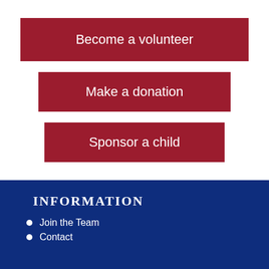Become a volunteer
Make a donation
Sponsor a child
INFORMATION
Join the Team
Contact